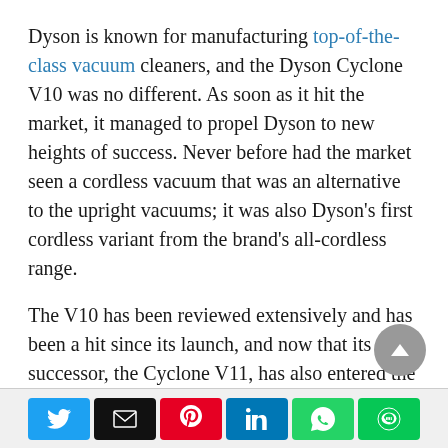Dyson is known for manufacturing top-of-the-class vacuum cleaners, and the Dyson Cyclone V10 was no different. As soon as it hit the market, it managed to propel Dyson to new heights of success. Never before had the market seen a cordless vacuum that was an alternative to the upright vacuums; it was also Dyson's first cordless variant from the brand's all-cordless range.
The V10 has been reviewed extensively and has been a hit since its launch, and now that its successor, the Cyclone V11, has also entered the market, things have certainly become more interesting.
[Figure (other): Social share buttons row: Twitter (blue), Email (black), Pinterest (red), LinkedIn (blue), WhatsApp (green), Line (green)]